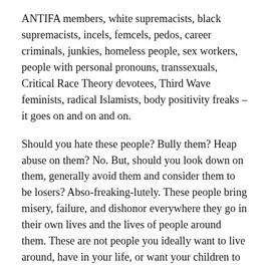ANTIFA members, white supremacists, black supremacists, incels, femcels, pedos, career criminals, junkies, homeless people, sex workers, people with personal pronouns, transsexuals, Critical Race Theory devotees, Third Wave feminists, radical Islamists, body positivity freaks – it goes on and on and on.
Should you hate these people? Bully them? Heap abuse on them? No. But, should you look down on them, generally avoid them and consider them to be losers? Abso-freaking-lutely. These people bring misery, failure, and dishonor everywhere they go in their own lives and the lives of people around them. These are not people you ideally want to live around, have in your life, or want your children to emulate. There is nowhere built on the ideas they champion that is healthy, admirable, and worth copying.